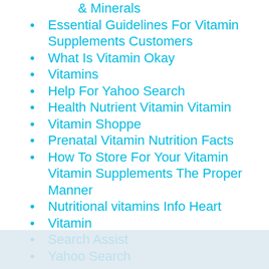& Minerals
Essential Guidelines For Vitamin Supplements Customers
What Is Vitamin Okay
Vitamins
Help For Yahoo Search
Health Nutrient Vitamin Vitamin
Vitamin Shoppe
Prenatal Vitamin Nutrition Facts
How To Store For Your Vitamin Vitamin Supplements The Proper Manner
Nutritional vitamins Info Heart
Vitamin
Search Assist
Yahoo Search